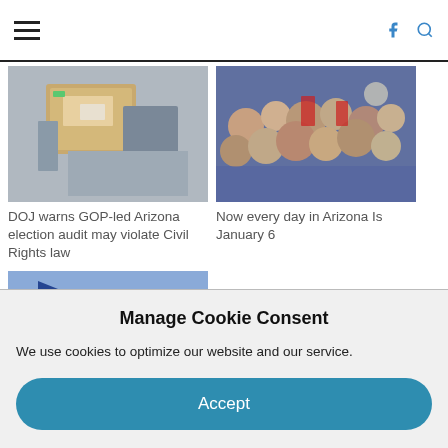Navigation header with hamburger menu, Facebook icon, and search icon
[Figure (photo): Photo of cardboard boxes/packages, likely a shipping/mailing context]
DOJ warns GOP-led Arizona election audit may violate Civil Rights law
[Figure (photo): Photo of a large crowd of people at a rally or protest]
Now every day in Arizona Is January 6
[Figure (photo): Photo of a person waving a large flag with '2024' against a blue sky]
Manage Cookie Consent
We use cookies to optimize our website and our service.
Accept